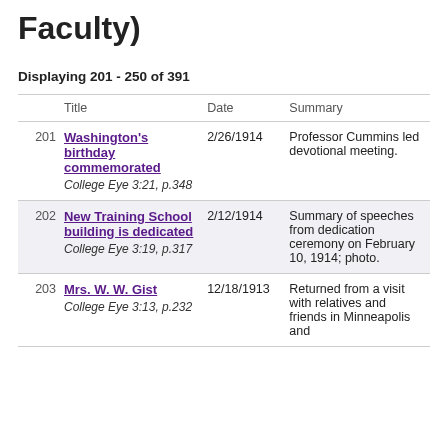Faculty)
Displaying 201 - 250 of 391
|  | Title | Date | Summary |
| --- | --- | --- | --- |
| 201 | Washington's birthday commemorated
College Eye 3:21, p.348 | 2/26/1914 | Professor Cummins led devotional meeting. |
| 202 | New Training School building is dedicated
College Eye 3:19, p.317 | 2/12/1914 | Summary of speeches from dedication ceremony on February 10, 1914; photo. |
| 203 | Mrs. W. W. Gist
College Eye 3:13, p.232 | 12/18/1913 | Returned from a visit with relatives and friends in Minneapolis and |